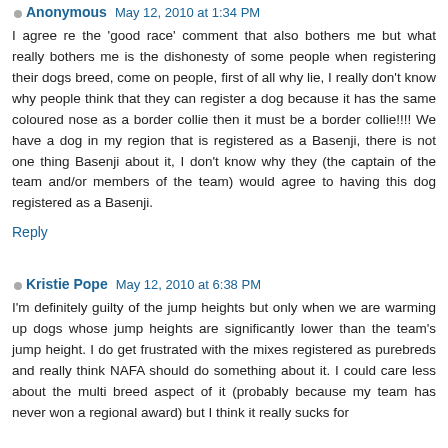Anonymous May 12, 2010 at 1:34 PM
I agree re the 'good race' comment that also bothers me but what really bothers me is the dishonesty of some people when registering their dogs breed, come on people, first of all why lie, I really don't know why people think that they can register a dog because it has the same coloured nose as a border collie then it must be a border collie!!!! We have a dog in my region that is registered as a Basenji, there is not one thing Basenji about it, I don't know why they (the captain of the team and/or members of the team) would agree to having this dog registered as a Basenji.
Reply
Kristie Pope May 12, 2010 at 6:38 PM
I'm definitely guilty of the jump heights but only when we are warming up dogs whose jump heights are significantly lower than the team's jump height. I do get frustrated with the mixes registered as purebreds and really think NAFA should do something about it. I could care less about the multi breed aspect of it (probably because my team has never won a regional award) but I think it really sucks for